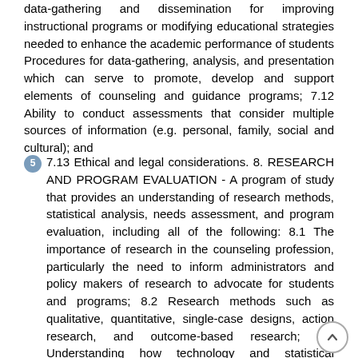data-gathering and dissemination for improving instructional programs or modifying educational strategies needed to enhance the academic performance of students Procedures for data-gathering, analysis, and presentation which can serve to promote, develop and support elements of counseling and guidance programs; 7.12 Ability to conduct assessments that consider multiple sources of information (e.g. personal, family, social and cultural); and
7.13 Ethical and legal considerations. 8. RESEARCH AND PROGRAM EVALUATION - A program of study that provides an understanding of research methods, statistical analysis, needs assessment, and program evaluation, including all of the following: 8.1 The importance of research in the counseling profession, particularly the need to inform administrators and policy makers of research to advocate for students and programs; 8.2 Research methods such as qualitative, quantitative, single-case designs, action research, and outcome-based research; 8.3 Understanding how technology and statistical methods are used in conducting research and program evaluation; 8.4 Principles, models, and applications of needs assessment, program evaluation, and use of findings to affect program